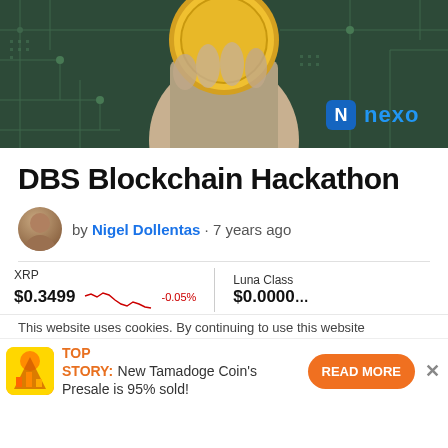[Figure (photo): Banner image showing a hand holding a large gold coin with blockchain/circuit board background and Nexo logo in bottom right]
DBS Blockchain Hackathon
by Nigel Dollentas · 7 years ago
XRP $0.3499 -0.05% | Luna Class: $0.0000
This website uses cookies. By continuing to use this website
TOP STORY: New Tamadoge Coin's Presale is 95% sold! READ MORE